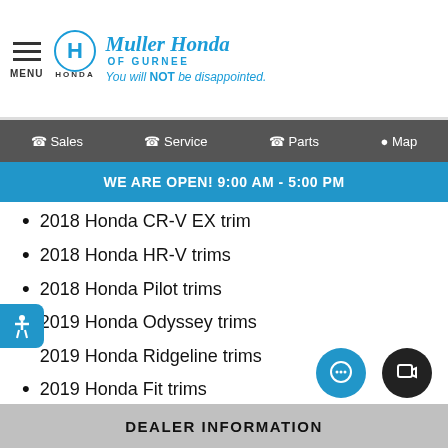MENU | Honda | Muller Honda OF GURNEE | You will NOT be disappointed.
Sales  Service  Parts  Map
WE ARE OPEN! 9:00 AM - 5:00 PM
2018 Honda CR-V EX trim
2018 Honda HR-V trims
2018 Honda Pilot trims
2019 Honda Odyssey trims
2019 Honda Ridgeline trims
2019 Honda Fit trims
Experience the difference a VTEC® or i-VTEC® engine can make first-hand by taking a new Honda out for a test-drive at Muller Honda of Gurnee. We sell a wide selection of the most popular new Honda models!
DEALER INFORMATION